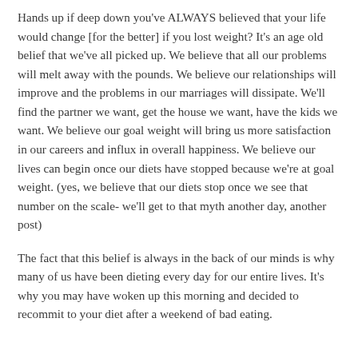Hands up if deep down you've ALWAYS believed that your life would change [for the better] if you lost weight? It's an age old belief that we've all picked up. We believe that all our problems will melt away with the pounds. We believe our relationships will improve and the problems in our marriages will dissipate. We'll find the partner we want, get the house we want, have the kids we want. We believe our goal weight will bring us more satisfaction in our careers and influx in overall happiness. We believe our lives can begin once our diets have stopped because we're at goal weight. (yes, we believe that our diets stop once we see that number on the scale- we'll get to that myth another day, another post)
The fact that this belief is always in the back of our minds is why many of us have been dieting every day for our entire lives. It's why you may have woken up this morning and decided to recommit to your diet after a weekend of bad eating.